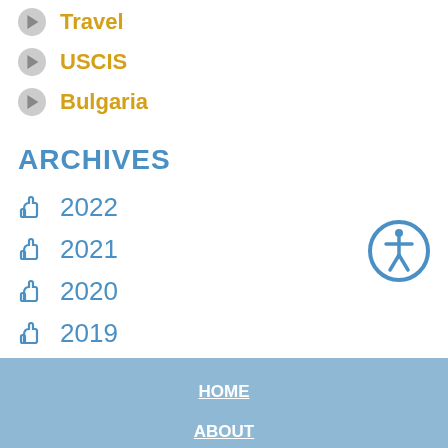Travel
USCIS
Bulgaria
ARCHIVES
2022
2021
2020
2019
2017
2016
[Figure (illustration): Blue circular accessibility icon with human figure silhouette]
HOME   ABOUT